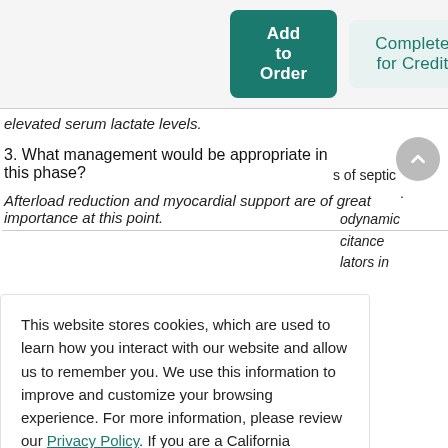[Figure (screenshot): Two buttons: 'Add to Order' (dark teal, filled) and 'Complete for Credit' (light teal, outlined)]
elevated serum lactate levels.
3. What management would be appropriate in this phase?
Afterload reduction and myocardial support are of great importance at this point.
This website stores cookies, which are used to learn how you interact with our website and allow us to remember you. We use this information to improve and customize your browsing experience. For more information, please review our Privacy Policy. If you are a California resident, please review our Privacy Notice for California Residents.
Accept
odynamic citance lators in
s of septic
.